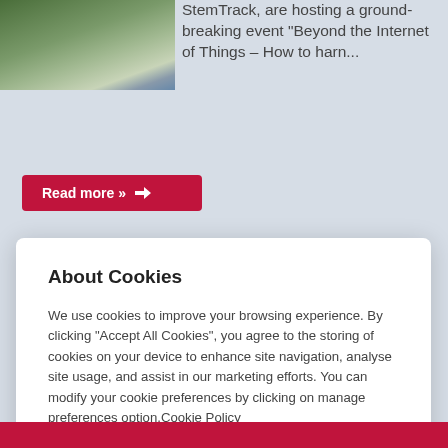[Figure (photo): Outdoor photo showing a pathway or ramp in a green outdoor setting, partially visible at top left]
StemTrack, are hosting a ground-breaking event "Beyond the Internet of Things – How to harn...
Read more »  →
About Cookies
We use cookies to improve your browsing experience. By clicking "Accept All Cookies", you agree to the storing of cookies on your device to enhance site navigation, analyse site usage, and assist in our marketing efforts. You can modify your cookie preferences by clicking on manage preferences option.Cookie Policy
Allow all
Manage preferences